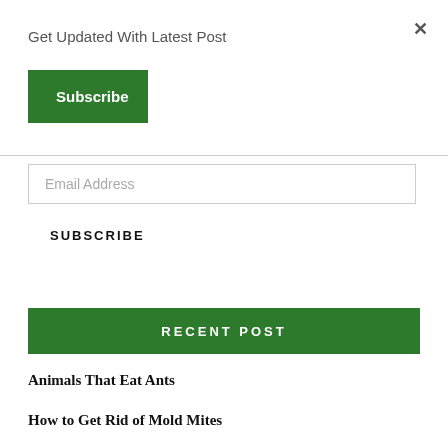×
Get Updated With Latest Post
Subscribe
Email Address
SUBSCRIBE
RECENT POST
Animals That Eat Ants
How to Get Rid of Mold Mites